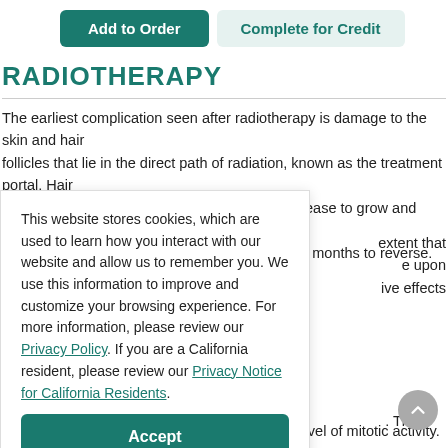[Figure (screenshot): Two buttons: 'Add to Order' (teal/dark green filled) and 'Complete for Credit' (light teal outlined)]
RADIOTHERAPY
The earliest complication seen after radiotherapy is damage to the skin and hair follicles that lie in the direct path of radiation, known as the treatment portal. Hair follicles are highly radiosensitive, and hair will cease to grow and may fall out. This is a temporary loss that may take weeks or months to reverse. The skin in [extent that] [upon] [ive effects]
This website stores cookies, which are used to learn how you interact with our website and allow us to remember you. We use this information to improve and customize your browsing experience. For more information, please review our Privacy Policy. If you are a California resident, please review our Privacy Notice for California Residents.
Accept
cellular regeneration corresponds with a high level of mitotic activity.